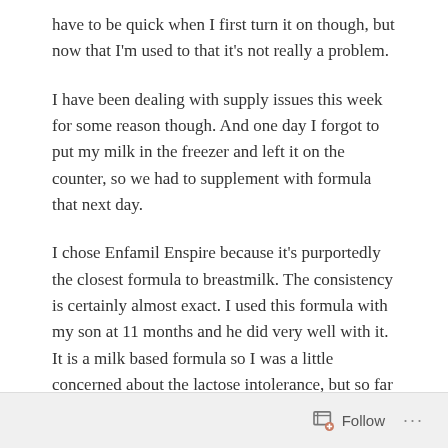have to be quick when I first turn it on though, but now that I'm used to that it's not really a problem.
I have been dealing with supply issues this week for some reason though. And one day I forgot to put my milk in the freezer and left it on the counter, so we had to supplement with formula that next day.
I chose Enfamil Enspire because it's purportedly the closest formula to breastmilk. The consistency is certainly almost exact. I used this formula with my son at 11 months and he did very well with it. It is a milk based formula so I was a little concerned about the lactose intolerance, but so far the girls have done well with it. We've only had to use it one day though.
Follow ···